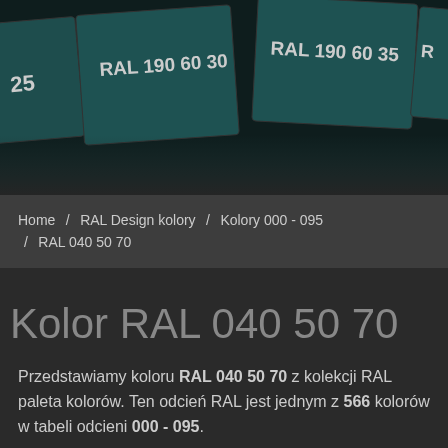[Figure (photo): Dark teal colored RAL color swatches/tiles visible in partial view, showing labels RAL 190 60 25, RAL 190 60 30, RAL 190 60 35 and a partial label on the right edge, against a very dark background]
Home / RAL Design kolory / Kolory 000 - 095 / RAL 040 50 70
Kolor RAL 040 50 70
Przedstawiamy koloru RAL 040 50 70 z kolekcji RAL paleta kolorów. Ten odcień RAL jest jednym z 566 kolorów w tabeli odcieni 000 - 095.